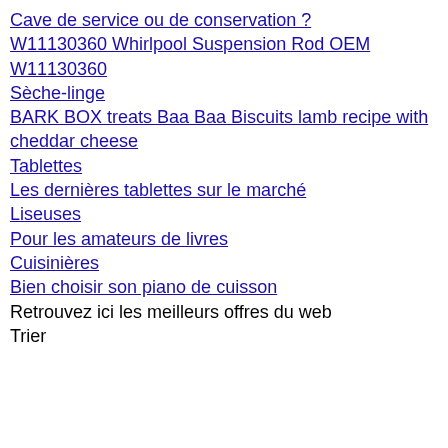Cave de service ou de conservation ?
W11130360 Whirlpool Suspension Rod OEM W11130360
Sèche-linge
BARK BOX treats Baa Baa Biscuits lamb recipe with cheddar cheese
Tablettes
Les dernières tablettes sur le marché
Liseuses
Pour les amateurs de livres
Cuisinières
Bien choisir son piano de cuisson
Retrouvez ici les meilleurs offres du web
Trier
Care Bear Champ Care Bear With VHS Has Box Damage Tape is Seale
Lire la suite